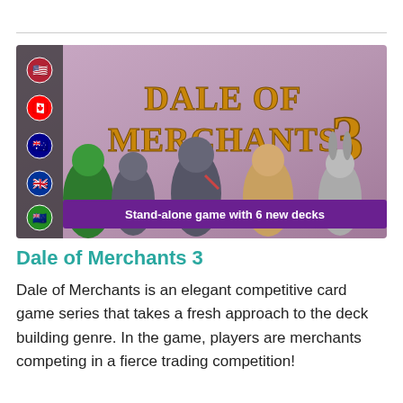[Figure (illustration): Dale of Merchants 3 board game cover art showing anthropomorphic animal characters (parrot, skunk, rat, camel, hare) in merchant attire against a purple background, with the title 'Dale of Merchants 3' in gold ornate lettering and a banner reading 'Stand-alone game with 6 new decks'. Country flag icons on the left side.]
Dale of Merchants 3
Dale of Merchants is an elegant competitive card game series that takes a fresh approach to the deck building genre. In the game, players are merchants competing in a fierce trading competition!